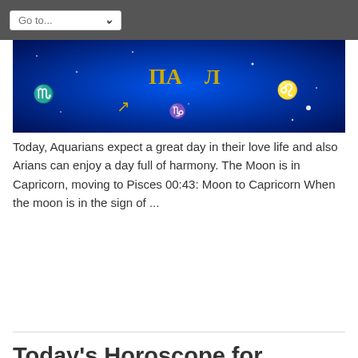Go to...
[Figure (photo): Zodiac signs banner with golden astrological symbols on a blue cosmic background]
Today, Aquarians expect a great day in their love life and also Arians can enjoy a day full of harmony. The Moon is in Capricorn, moving to Pisces 00:43: Moon to Capricorn When the moon is in the sign of ...
Read More »
Today's Horoscope for January 23rd, 2017
23.01.2017   Leave a comment
[Figure (photo): Colorful horoscope wheel with zodiac symbols on a purple and pink cosmic background]